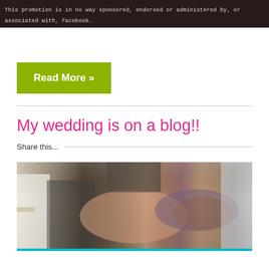This promotion is in no way sponsored, endorsed or administered by, or associated with, Facebook.
Read More »
My wedding is on a blog!!
Share this...
[Figure (photo): Wedding photo showing hands of bride and groom joined together, groom has tattooed arms, bride wearing white dress with sparkle belt]